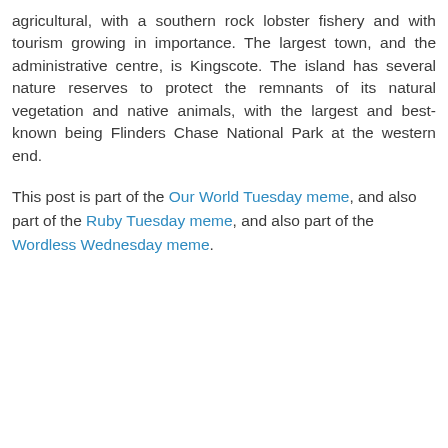agricultural, with a southern rock lobster fishery and with tourism growing in importance. The largest town, and the administrative centre, is Kingscote. The island has several nature reserves to protect the remnants of its natural vegetation and native animals, with the largest and best-known being Flinders Chase National Park at the western end.
This post is part of the Our World Tuesday meme, and also part of the Ruby Tuesday meme, and also part of the Wordless Wednesday meme.